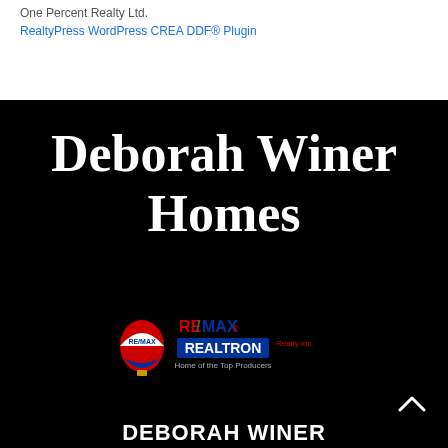One Percent Realty Ltd.
RealtyPress WordPress CREA DDF® Plugin
Deborah Winer Homes
[Figure (logo): RE/MAX Realtron Realty Inc. logo with hot air balloon graphic and tagline 'Home of the Top Producers']
DEBORAH WINER